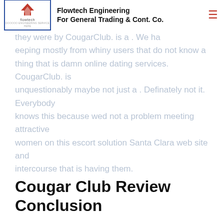Club d ?
Flowtech Engineering For General Trading & Cont. Co.
they were by CougarClub. is a . We ha keeping mostly from whiny users that do not know a thing that is damn online dating services. CougarClub. is unquestionably maybe not just a . Definately not it. Everybody knows this because wed not a problem meeting attractive women on this escort solution Santa Clara web site and intercourse that is having them.
Cougar Club Review Conclusion
Without a doubt, CougarClub. is merely one of the more helpful places to satisfy a cougar that is appealing. 40+ year women that are old this amazing site are trying to find sex. They truly are maybe maybe not trying to go back and forth emailing for months. Some guy is wanted by them that is